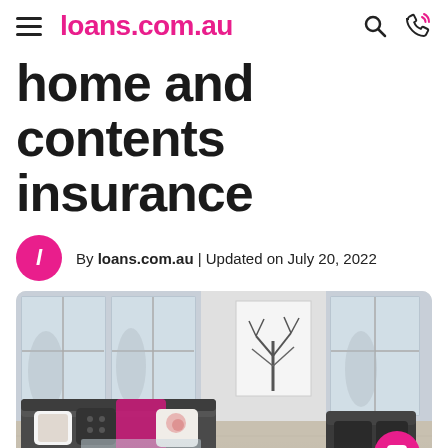loans.com.au
home and contents insurance
By loans.com.au | Updated on July 20, 2022
[Figure (photo): Interior photo of a modern living room with a grey sofa, patterned cushions, a pink throw blanket, a glass coffee table, white walls, large windows, and a black-and-white tree artwork on the wall.]